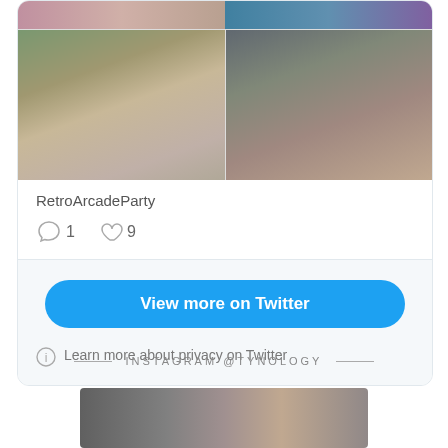[Figure (screenshot): Twitter card showing photo grid with two rows of images - top strip partially visible, main row with man with beard/tattoos (left) and woman with teal hair smoking (right)]
RetroArcadeParty
1  9
View more on Twitter
Learn more about privacy on Twitter
INSTAGRAM @TYNOLOGY
[Figure (photo): Instagram photo strip partially visible at bottom of page]